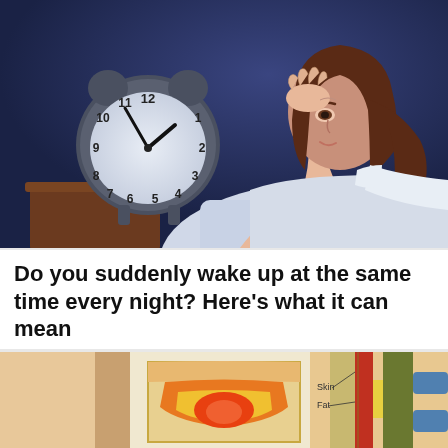[Figure (illustration): Cartoon illustration of a woman lying in bed, looking distressed, propping her head up with her hand. A large alarm clock showing approximately 2:50 is visible on a nightstand in the foreground. The background is dark blue suggesting nighttime.]
Do you suddenly wake up at the same time every night? Here's what it can mean
BY ROXANNE GOLDBERG
[Figure (illustration): Medical illustration showing a cross-section of human anatomy including what appears to be a spinal or joint cross-section with layers labeled 'Skin' and 'Fat', with orange and yellow coloring indicating inflammation or tissue layers. Flanked by illustrations of legs/limbs.]